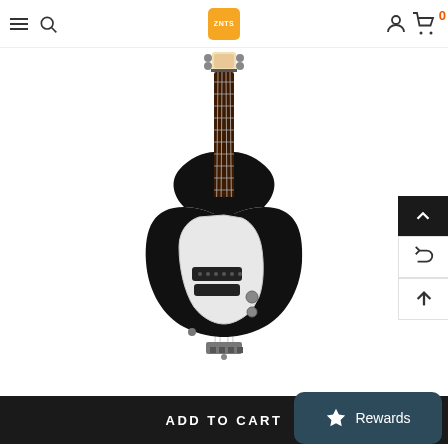Navigation bar with hamburger menu, search icon, ZNTS logo, user icon, cart (0)
[Figure (photo): Black electric bass guitar (P-bass style) with white pickguard, dark rosewood fretboard, displayed vertically against white background]
ADD TO CART
Rewards